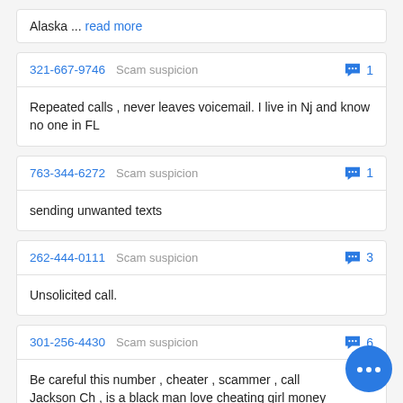Alaska ... read more
321-667-9746   Scam suspicion   💬 1
Repeated calls , never leaves voicemail. I live in Nj and know no one in FL
763-344-6272   Scam suspicion   💬 1
sending unwanted texts
262-444-0111   Scam suspicion   💬 3
Unsolicited call.
301-256-4430   Scam suspicion   💬 6
Be careful this number , cheater , scammer , call Jackson Ch , is a black man love cheating girl money